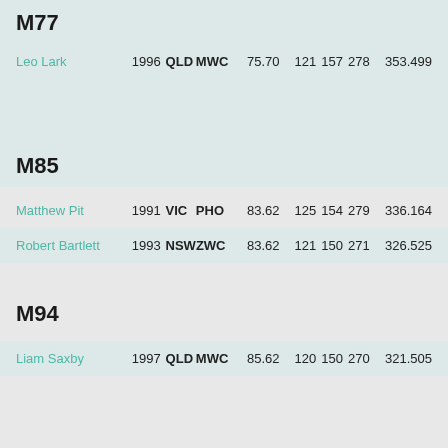M77
| Name | Year | State | Club | Weight | S1 | S2 | S3 | Total |
| --- | --- | --- | --- | --- | --- | --- | --- | --- |
| Leo Lark | 1996 | QLD | MWC | 75.70 | 121 | 157 | 278 | 353.499 |
M85
| Name | Year | State | Club | Weight | S1 | S2 | S3 | Total |
| --- | --- | --- | --- | --- | --- | --- | --- | --- |
| Matthew Pit | 1991 | VIC | PHO | 83.62 | 125 | 154 | 279 | 336.164 |
| Robert Bartlett | 1993 | NSW | ZWC | 83.62 | 121 | 150 | 271 | 326.525 |
M94
| Name | Year | State | Club | Weight | S1 | S2 | S3 | Total |
| --- | --- | --- | --- | --- | --- | --- | --- | --- |
| Liam Saxby | 1997 | QLD | MWC | 85.62 | 120 | 150 | 270 | 321.505 |